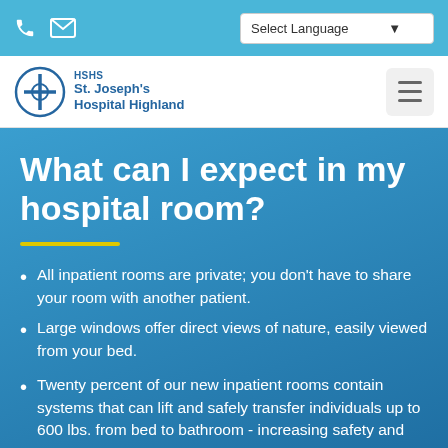HSHS St. Joseph's Hospital Highland — Select Language
[Figure (logo): HSHS St. Joseph's Hospital Highland logo with circular cross emblem]
What can I expect in my hospital room?
All inpatient rooms are private; you don't have to share your room with another patient.
Large windows offer direct views of nature, easily viewed from your bed.
Twenty percent of our new inpatient rooms contain systems that can lift and safely transfer individuals up to 600 lbs. from bed to bathroom - increasing safety and